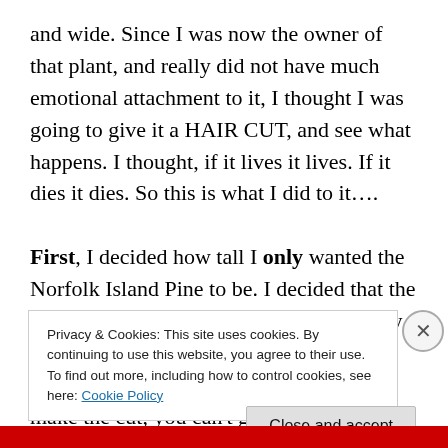and wide. Since I was now the owner of that plant, and really did not have much emotional attachment to it, I thought I was going to give it a HAIR CUT, and see what happens. I thought, if it lives it lives. If it dies it dies. So this is what I did to it….
First, I decided how tall I only wanted the Norfolk Island Pine to be. I decided that the pot and plant TOGETHER, would be only 4 feet tall. You only have one chance to decide, so choose carefully! Once you make the cut, you can't glue it back on. The decided height will, most likely,
Privacy & Cookies: This site uses cookies. By continuing to use this website, you agree to their use.
To find out more, including how to control cookies, see here: Cookie Policy
Close and accept